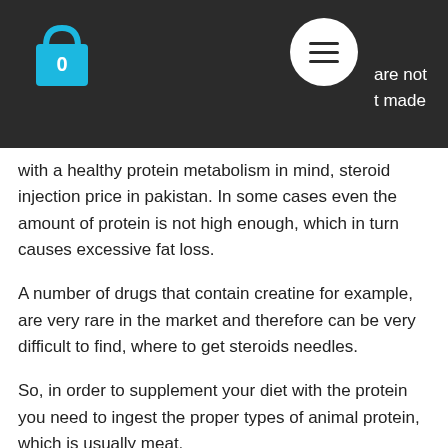are not
t made
with a healthy protein metabolism in mind, steroid injection price in pakistan. In some cases even the amount of protein is not high enough, which in turn causes excessive fat loss.
A number of drugs that contain creatine for example, are very rare in the market and therefore can be very difficult to find, where to get steroids needles.
So, in order to supplement your diet with the protein you need to ingest the proper types of animal protein, which is usually meat.
The best sources are the following:
Wild game